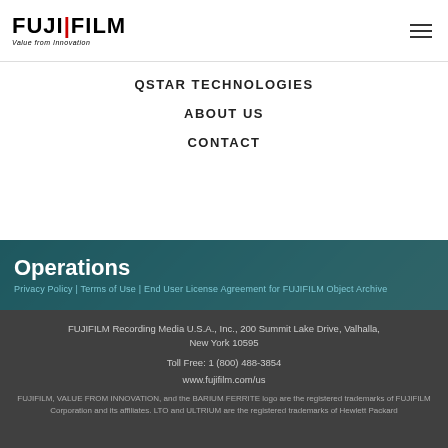[Figure (logo): FUJIFILM logo with 'Value from Innovation' tagline]
QSTAR TECHNOLOGIES | ABOUT US | CONTACT
Operations
Privacy Policy | Terms of Use | End User License Agreement for FUJIFILM Object Archive
FUJIFILM Recording Media U.S.A., Inc., 200 Summit Lake Drive, Valhalla, New York 10595
Toll Free:  1 (800) 488-3854
www.fujifilm.com/us
FUJIFILM, VALUE FROM INNOVATION, and the BARIUM FERRITE logo are the registered trademarks of FUJIFILM Corporation and its affiliates. LTO and ULTRIUM are the registered trademarks of Hewlett Packard